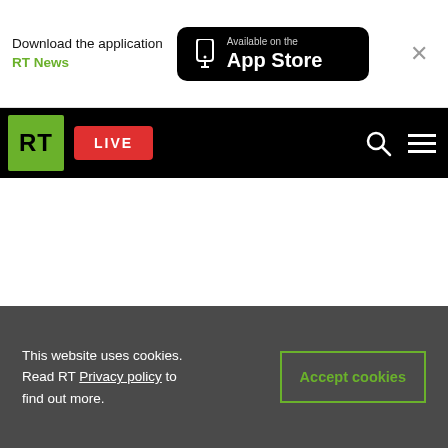Download the application RT News | Available on the App Store
[Figure (screenshot): RT website navigation bar with green RT logo, red LIVE button, search icon, and hamburger menu on black background]
Top stories
This website uses cookies. Read RT Privacy policy to find out more.
Accept cookies